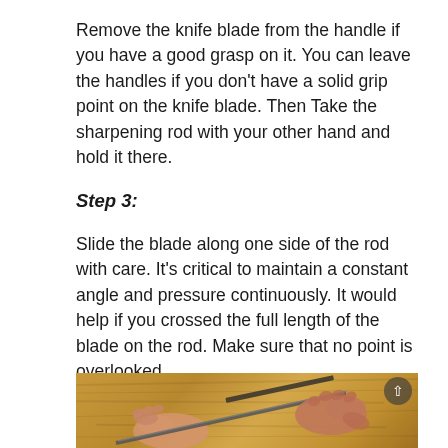Remove the knife blade from the handle if you have a good grasp on it. You can leave the handles if you don't have a solid grip point on the knife blade. Then Take the sharpening rod with your other hand and hold it there.
Step 3:
Slide the blade along one side of the rod with care. It's critical to maintain a constant angle and pressure continuously. It would help if you crossed the full length of the blade on the rod. Make sure that no point is overlooked.
[Figure (photo): Photo of two hands sharpening a knife blade against a sharpening rod on a wooden surface]